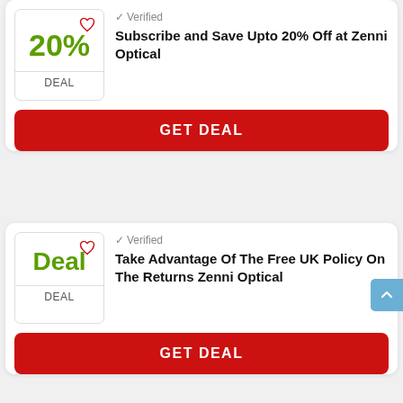[Figure (infographic): Deal badge showing 20% with heart icon and DEAL label]
✓ Verified
Subscribe and Save Upto 20% Off at Zenni Optical
GET DEAL
[Figure (infographic): Deal badge showing 'Deal' text with heart icon and DEAL label]
✓ Verified
Take Advantage Of The Free UK Policy On The Returns Zenni Optical
GET DEAL